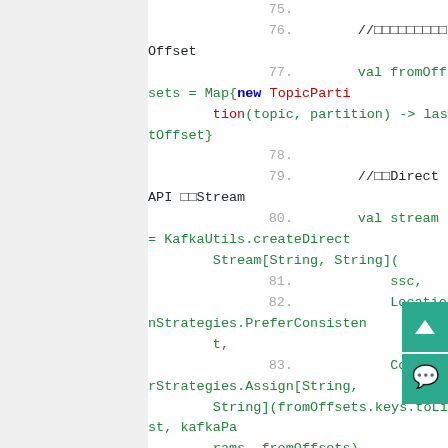[Figure (screenshot): Code editor screenshot showing Scala/Spark code lines 75-90, with line numbers in a gutter on the left separated by a teal vertical bar, and code on the right with syntax highlighting. Green for identifiers and keywords, blue for 'new', red for certain keywords. Lines show Kafka Spark Streaming code including fromOffsets map, createDirectStream call, foreachRDD, and offsetRanges. Two teal scroll/action buttons visible at bottom right.]